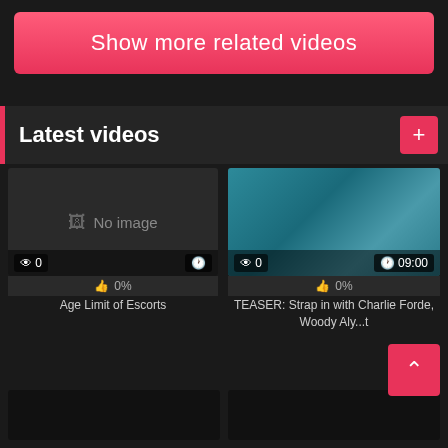Show more related videos
Latest videos
[Figure (screenshot): No image placeholder thumbnail with views 0 and no duration]
Age Limit of Escorts
[Figure (photo): Video thumbnail showing adult content, teal/blue background, views 0, duration 09:00]
TEASER: Strap in with Charlie Forde, Woody Aly...t